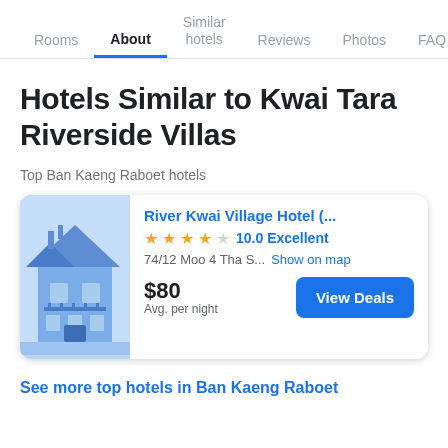Rooms | About | Similar hotels | Reviews | Photos | FAQ
Hotels Similar to Kwai Tara Riverside Villas
Top Ban Kaeng Raboet hotels
[Figure (illustration): Hotel building illustration with blue theme]
River Kwai Village Hotel (...
★★★★☆ 10.0 Excellent
74/12 Moo 4 Tha S... Show on map
$80 Avg. per night
See more top hotels in Ban Kaeng Raboet